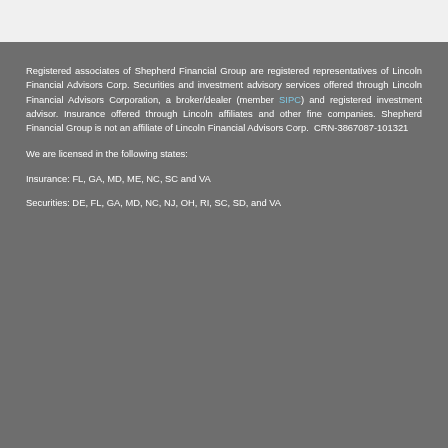Registered associates of Shepherd Financial Group are registered representatives of Lincoln Financial Advisors Corp. Securities and investment advisory services offered through Lincoln Financial Advisors Corporation, a broker/dealer (member SIPC) and registered investment advisor. Insurance offered through Lincoln affiliates and other fine companies. Shepherd Financial Group is not an affiliate of Lincoln Financial Advisors Corp.  CRN-3867087-101321
We are licensed in the following states:
Insurance: FL, GA, MD, ME, NC, SC and VA
Securities: DE, FL, GA, MD, NC, NJ, OH, RI, SC, SD, and VA